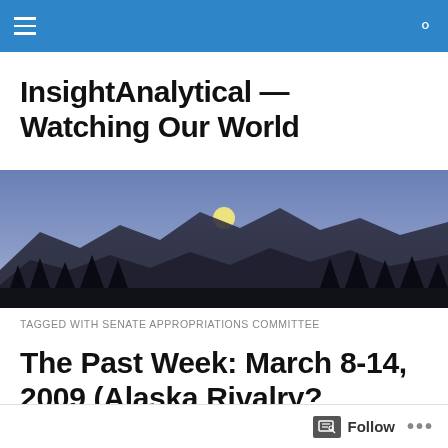Navigation bar with hamburger menu and search icon
InsightAnalytical — Watching Our World
[Figure (photo): A twilight/dusk landscape photo showing a mountain range silhouette against a purple-blue sky, with a full moon rising above the peaks and dark trees in the foreground.]
TAGGED WITH SENATE APPROPRIATIONS COMMITTEE
The Past Week: March 8-14, 2009 (Alaska Rivalry? Palin/Murkowski Fra...
Follow